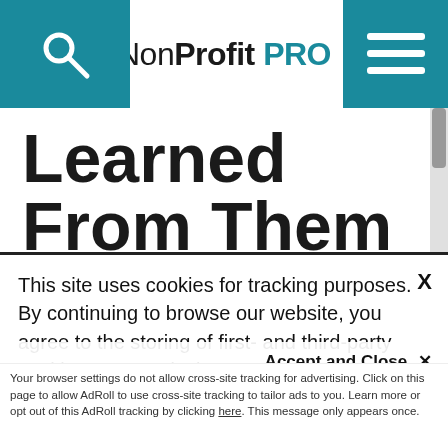NonProfit PRO
Learned From Them
A fundraising pro looks fearlessly at some of her career's low points.
By Lyndall Stein
This site uses cookies for tracking purposes. By continuing to browse our website, you agree to the storing of first- and third-party cookies on your device to enhance site navigation, analyze site usage, and assist in our marketing and
Accept and Close ✕
Your browser settings do not allow cross-site tracking for advertising. Click on this page to allow AdRoll to use cross-site tracking to tailor ads to you. Learn more or opt out of this AdRoll tracking by clicking here. This message only appears once.